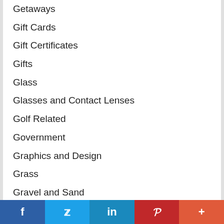Getaways
Gift Cards
Gift Certificates
Gifts
Glass
Glasses and Contact Lenses
Golf Related
Government
Graphics and Design
Grass
Gravel and Sand
Grocery Stores
Gutter Cleaning
Gutter Repair
f  Twitter  in  P  +